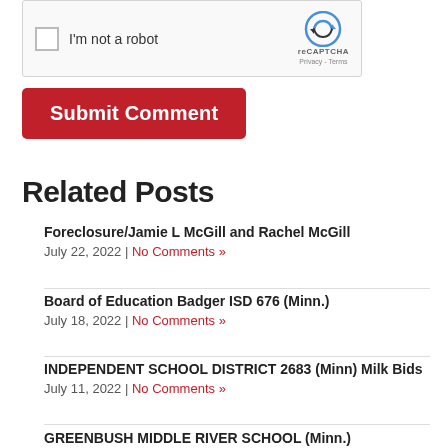[Figure (screenshot): reCAPTCHA widget with checkbox labeled 'I'm not a robot' and reCAPTCHA logo with Privacy and Terms links]
Submit Comment
Related Posts
Foreclosure/Jamie L McGill and Rachel McGill
July 22, 2022 | No Comments »
Board of Education Badger ISD 676 (Minn.)
July 18, 2022 | No Comments »
INDEPENDENT SCHOOL DISTRICT 2683 (Minn) Milk Bids
July 11, 2022 | No Comments »
GREENBUSH MIDDLE RIVER SCHOOL (Minn.)